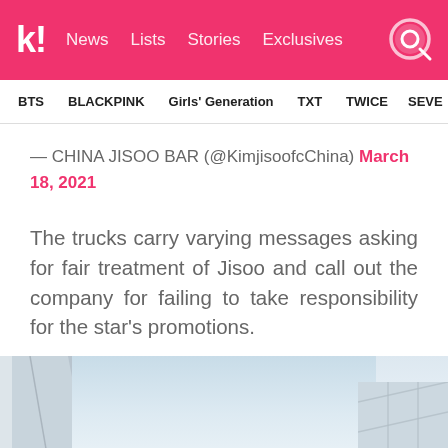k! News Lists Stories Exclusives
BTS  BLACKPINK  Girls' Generation  TXT  TWICE  SEVE
— CHINA JISOO BAR (@KimjisoofcChina) March 18, 2021
The trucks carry varying messages asking for fair treatment of Jisoo and call out the company for failing to take responsibility for the star's promotions.
[Figure (photo): Partial photo of a building against a light sky, visible in the bottom portion of the page]